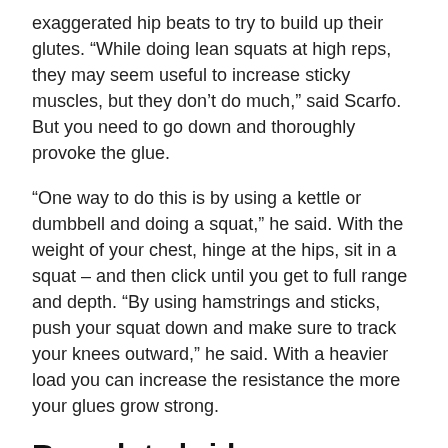exaggerated hip beats to try to build up their glutes. “While doing lean squats at high reps, they may seem useful to increase sticky muscles, but they don’t do much,” said Scarfo. But you need to go down and thoroughly provoke the glue.
“One way to do this is by using a kettle or dumbbell and doing a squat,” he said. With the weight of your chest, hinge at the hips, sit in a squat – and then click until you get to full range and depth. “By using hamstrings and sticks, push your squat down and make sure to track your knees outward,” he said. With a heavier load you can increase the resistance the more your glues grow strong.
Run glute bridges
“Now, arguably, glute bridges are not bad, but it’s a bad thing that most people do,” said Scarfo. “You can glute as